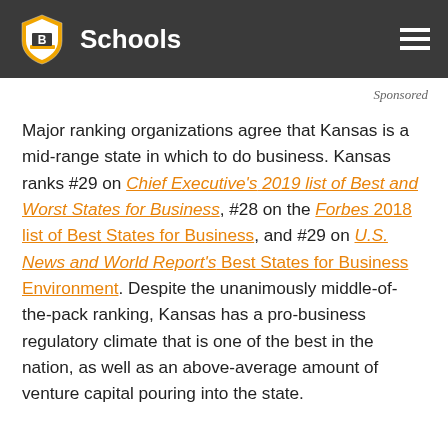B Schools
Sponsored
Major ranking organizations agree that Kansas is a mid-range state in which to do business. Kansas ranks #29 on Chief Executive's 2019 list of Best and Worst States for Business, #28 on the Forbes 2018 list of Best States for Business, and #29 on U.S. News and World Report's Best States for Business Environment. Despite the unanimously middle-of-the-pack ranking, Kansas has a pro-business regulatory climate that is one of the best in the nation, as well as an above-average amount of venture capital pouring into the state.